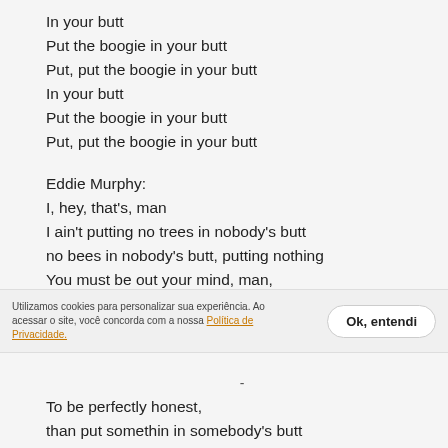In your butt
Put the boogie in your butt
Put, put the boogie in your butt
In your butt
Put the boogie in your butt
Put, put the boogie in your butt
Eddie Murphy:
I, hey, that's, man
I ain't putting no trees in nobody's butt
no bees in nobody's butt, putting nothing
You must be out your mind, man,
y'all got paid for doing this?
Utilizamos cookies para personalizar sua experiência. Ao acessar o site, você concorda com a nossa Política de Privacidade.
Ok, entendi
-
To be perfectly honest,
than put somethin in somebody's butt